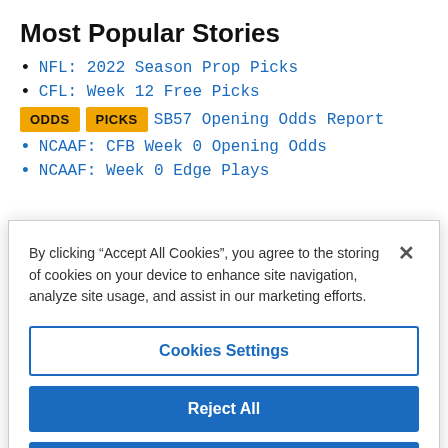Most Popular Stories
NFL: 2022 Season Prop Picks
CFL: Week 12 Free Picks
SB57 Opening Odds Report
NCAAF: CFB Week 0 Opening Odds
NCAAF: Week 0 Edge Plays
By clicking “Accept All Cookies”, you agree to the storing of cookies on your device to enhance site navigation, analyze site usage, and assist in our marketing efforts.
Cookies Settings
Reject All
Accept All Cookies